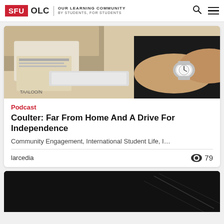SFU OLC | OUR LEARNING COMMUNITY BY STUDENTS, FOR STUDENTS
[Figure (photo): Photo of students at a table, one wearing a watch, with papers and a keyboard visible]
Podcast
Coulter: Far From Home And A Drive For Independence
Community Engagement, International Student Life, I…
larcedia   👁 79
[Figure (photo): Dark/black image, second card preview at bottom of page]